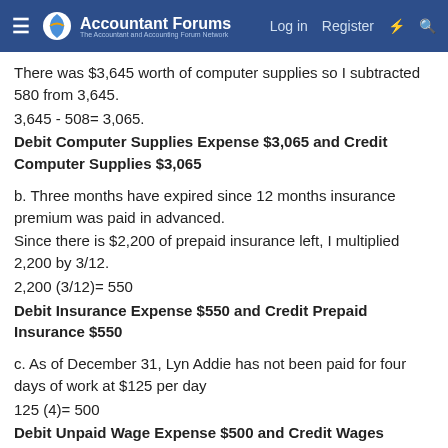Accountant Forums — Log in  Register
There was $3,645 worth of computer supplies so I subtracted 580 from 3,645.
3,645 - 508= 3,065.
Debit Computer Supplies Expense $3,065 and Credit Computer Supplies $3,065
b. Three months have expired since 12 months insurance premium was paid in advanced.
Since there is $2,200 of prepaid insurance left, I multiplied 2,200 by 3/12.
2,200 (3/12)= 550
Debit Insurance Expense $550 and Credit Prepaid Insurance $550
c. As of December 31, Lyn Addie has not been paid for four days of work at $125 per day
125 (4)= 500
Debit Unpaid Wage Expense $500 and Credit Wages Payable 500